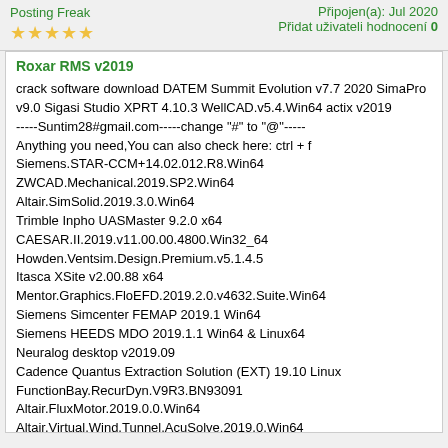Posting Freak | Připojen(a): Jul 2020 | Přidat uživateli hodnocení 0
Roxar RMS v2019
crack software download DATEM Summit Evolution v7.7 2020 SimaPro v9.0 Sigasi Studio XPRT 4.10.3 WellCAD.v5.4.Win64 actix v2019
-----Suntim28#gmail.com-----change "#" to "@"-----
Anything you need,You can also check here: ctrl + f
Siemens.STAR-CCM+14.02.012.R8.Win64
ZWCAD.Mechanical.2019.SP2.Win64
Altair.SimSolid.2019.3.0.Win64
Trimble Inpho UASMaster 9.2.0 x64
CAESAR.II.2019.v11.00.00.4800.Win32_64
Howden.Ventsim.Design.Premium.v5.1.4.5
Itasca XSite v2.00.88 x64
Mentor.Graphics.FloEFD.2019.2.0.v4632.Suite.Win64
Siemens Simcenter FEMAP 2019.1 Win64
Siemens HEEDS MDO 2019.1.1 Win64 & Linux64
Neuralog desktop v2019.09
Cadence Quantus Extraction Solution (EXT) 19.10 Linux
FunctionBay.RecurDyn.V9R3.BN93091
Altair.FluxMotor.2019.0.0.Win64
Altair.Virtual.Wind.Tunnel.AcuSolve.2019.0.Win64
DP Technology ESPRIT 2019 R1